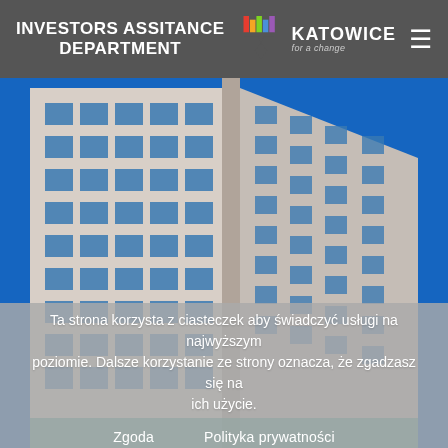INVESTORS ASSITANCE DEPARTMENT
[Figure (logo): Katowice city logo with colorful bar chart style icon and text 'KATOWICE for a change']
[Figure (photo): Upward-looking photo of a modern glass and concrete office building against a clear blue sky]
Ta strona korzysta z ciasteczek aby świadczyć usługi na najwyższym poziomie. Dalsze korzystanie ze strony oznacza, że zgadzasz się na ich użycie.
Zgoda    Polityka prywatności